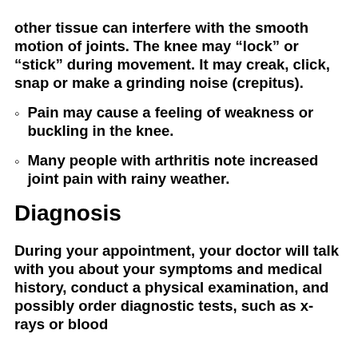other tissue can interfere with the smooth motion of joints. The knee may “lock” or “stick” during movement. It may creak, click, snap or make a grinding noise (crepitus).
Pain may cause a feeling of weakness or buckling in the knee.
Many people with arthritis note increased joint pain with rainy weather.
Diagnosis
During your appointment, your doctor will talk with you about your symptoms and medical history, conduct a physical examination, and possibly order diagnostic tests, such as x-rays or blood